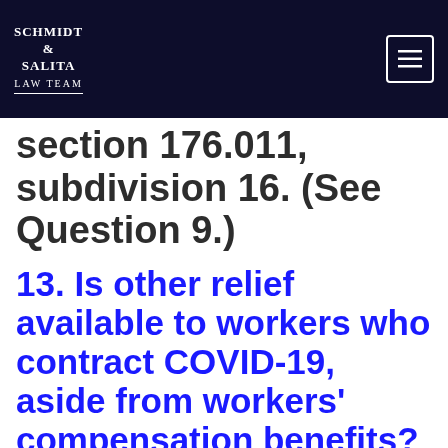SCHMIDT & SALITA LAW TEAM
section 176.011, subdivision 16. (See Question 9.)
13. Is other relief available to workers who contract COVID-19, aside from workers' compensation benefits?